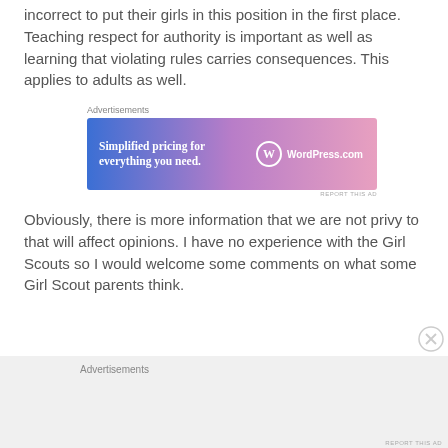incorrect to put their girls in this position in the first place. Teaching respect for authority is important as well as learning that violating rules carries consequences. This applies to adults as well.
[Figure (other): Advertisement banner for WordPress.com with text 'Simplified pricing for everything you need.' and WordPress.com logo on a blue-to-pink gradient background]
Obviously, there is more information that we are not privy to that will affect opinions. I have no experience with the Girl Scouts so I would welcome some comments on what some Girl Scout parents think.
[Figure (other): Bottom advertisement area with gray background and 'Advertisements' label]